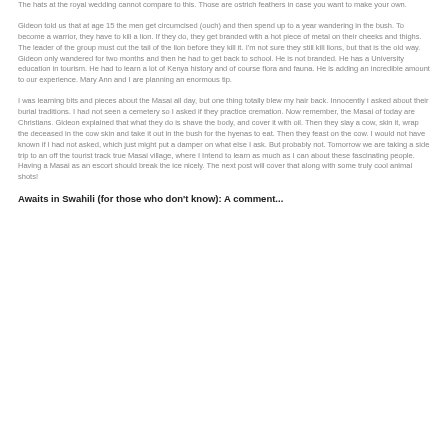The hats at the royal wedding cannot compare to this. Those are ostrich feathers in case you want to make your own.
Gideon told us that at age 15 the men get circumcised (ouch) and then spend up to a year wandering in the bush. To become a warrior, they have to kill a lion. If they do, they get branded with a hot piece of metal on their cheeks and thighs. The leader of the group must cut the tail of the lion before they kill it. I'm not sure they still kill lions, but that is the old way. Gideon only wandered for two months and then he had to get back to school. He is not branded. He has a University education in tourism. He had to learn a lot of Kenya history and of course flora and fauna. He is adding an incredible amount to our experience. Mary Ann and I are planning an enormous tip.
I was learning bits and pieces about the Masai all day, but one thing totally blew my hair back. Innocently I asked about their burial traditions. I had not seen a cemetery so I asked if they practice cremation. Now remember, the Masai of today are Christians. Gideon explained that what they do is shave the body, and cover it with oil. Then they slay a cow, skin it, wrap the deceased in the cow skin and take it out in the bush for the hyenas to eat. Then they feast on the cow. I would not have known if I had not asked, which just might put a damper on what else I ask. But probably not. Tomorrow we are taking a side trip to an off the tourist track true Masai village, where I Intend to learn as much as I can about these fascinating people. Having a Masai as an escort should break the ice nicely. The next post will cover that along with some truly cool animal shots!
Awaits in Swahili (for those who don't know): A comment...